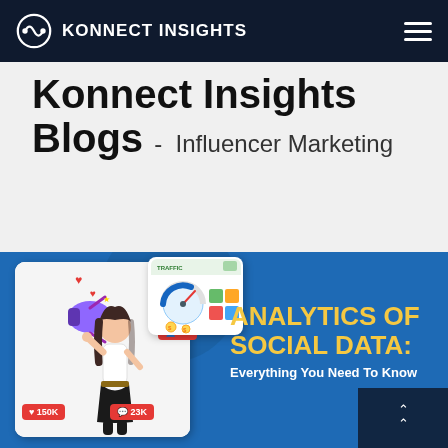KONNECT INSIGHTS
Konnect Insights Blogs - Influencer Marketing
[Figure (illustration): Blog post thumbnail showing a 3D animated woman with a megaphone on a social media card with 150K likes and 23K comments, alongside a traffic analytics dashboard, on a blue background with bold yellow text reading 'ANALYTICS OF SOCIAL DATA: Everything You Need To Know']